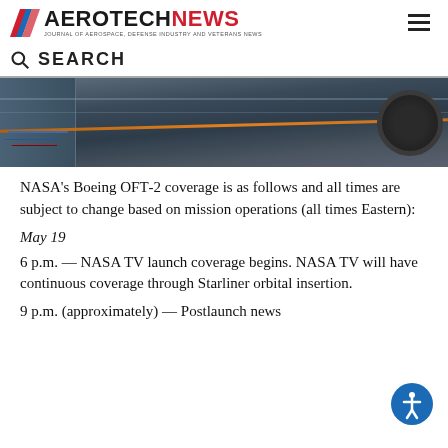AEROTECHNEWS — Journal of Aerospace, Defense Industry and Veterans News
SEARCH
[Figure (photo): Overhead/angled photo of aerospace equipment showing wiring, cables (including orange cable), and a circular engine or component opening against a dark workshop background.]
NASA's Boeing OFT-2 coverage is as follows and all times are subject to change based on mission operations (all times Eastern):
May 19
6 p.m. — NASA TV launch coverage begins. NASA TV will have continuous coverage through Starliner orbital insertion.
9 p.m. (approximately) — Postlaunch news